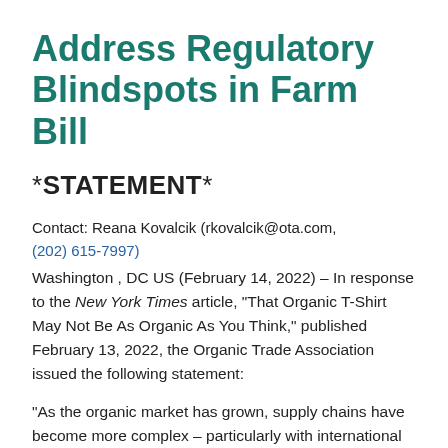Address Regulatory Blindspots in Farm Bill
*STATEMENT*
Contact: Reana Kovalcik (rkovalcik@ota.com,
(202) 615-7997)
Washington, DC US (February 14, 2022) – In response to the New York Times article, "That Organic T-Shirt May Not Be As Organic As You Think," published February 13, 2022, the Organic Trade Association issued the following statement:
"As the organic market has grown, supply chains have become more complex – particularly with international markets in play," says Organic Trade Association Vice President, Regulatory & Technical Affairs Gwendolyn Wyard. "Unlike other industries, however, organic is not interested in growth at any